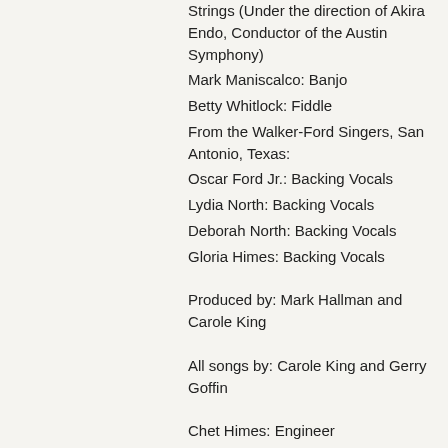Strings (Under the direction of Akira Endo, Conductor of the Austin Symphony)
Mark Maniscalco: Banjo
Betty Whitlock: Fiddle
From the Walker-Ford Singers, San Antonio, Texas:
Oscar Ford Jr.: Backing Vocals
Lydia North: Backing Vocals
Deborah North: Backing Vocals
Gloria Himes: Backing Vocals
Produced by: Mark Hallman and Carole King
All songs by: Carole King and Gerry Goffin
Chet Himes: Engineer
James Tuttle: Assistant Engineer